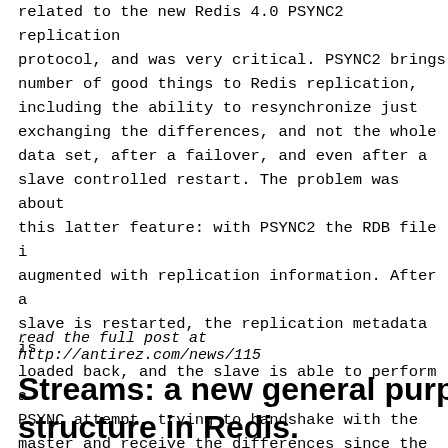related to the new Redis 4.0 PSYNC2 replication protocol, and was very critical. PSYNC2 brings a number of good things to Redis replication, including the ability to resynchronize just exchanging the differences, and not the whole data set, after a failover, and even after a slave controlled restart. The problem was about this latter feature: with PSYNC2 the RDB file is augmented with replication information. After a slave is restarted, the replication metadata is loaded back, and the slave is able to perform a PSYNC attempt, trying to handshake with the master and receive the differences since the last disconnection.
read the full post at http://antirez.com/news/115
Streams: a new general purpose data structure in Redis.